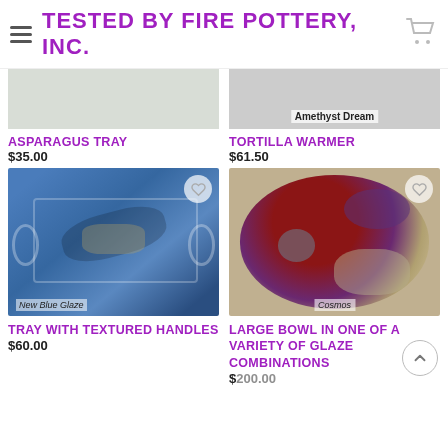TESTED BY FIRE POTTERY, INC.
[Figure (photo): Top portion of Asparagus Tray product image (light green/gray background)]
ASPARAGUS TRAY
$35.00
[Figure (photo): Top portion of Tortilla Warmer product image with label 'Amethyst Dream']
TORTILLA WARMER
$61.50
[Figure (photo): Blue glazed tray with textured handles, labeled 'New Blue Glaze']
TRAY WITH TEXTURED HANDLES
$60.00
[Figure (photo): Large round bowl with cosmos glaze pattern in red, purple, blue, and tan, labeled 'Cosmos']
LARGE BOWL IN ONE OF A VARIETY OF GLAZE COMBINATIONS
$200.00